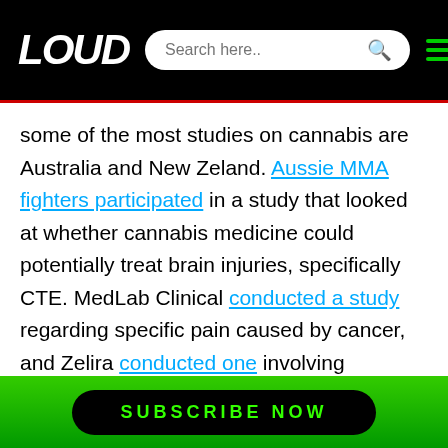LOUD
some of the most studies on cannabis are Australia and New Zeland. Aussie MMA fighters participated in a study that looked at whether cannabis medicine could potentially treat brain injuries, specifically CTE. MedLab Clinical conducted a study regarding specific pain caused by cancer, and Zelira conducted one involving cannabis for treating insomnia. Both studies were successful in phase one, and will move on with further research later this year. Perhaps the most interesting study happening in 2020 was done by AusCann. They studied